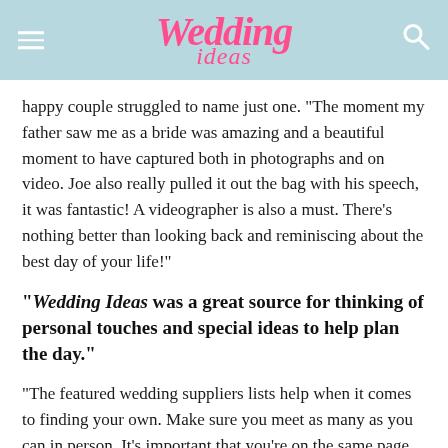Wedding ideas
happy couple struggled to name just one. “The moment my father saw me as a bride was amazing and a beautiful moment to have captured both in photographs and on video. Joe also really pulled it out the bag with his speech, it was fantastic! A videographer is also a must. There’s nothing better than looking back and reminiscing about the best day of your life!”
“Wedding Ideas was a great source for thinking of personal touches and special ideas to help plan the day.”
“The featured wedding suppliers lists help when it comes to finding your own. Make sure you meet as many as you can in person. It’s important that you’re on the same page to make sure the service they provide is perfect for your